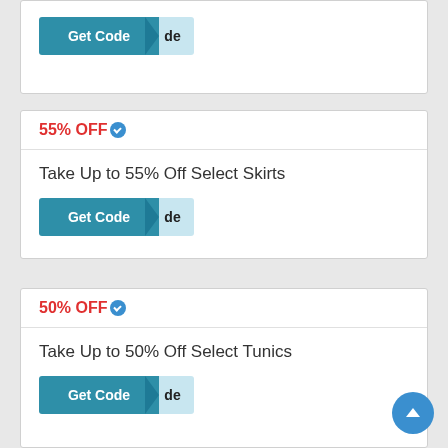[Figure (screenshot): Get Code button partially visible at top of page]
55% OFF
Take Up to 55% Off Select Skirts
[Figure (screenshot): Get Code button for 55% off skirts deal]
50% OFF
Take Up to 50% Off Select Tunics
[Figure (screenshot): Get Code button for 50% off tunics deal]